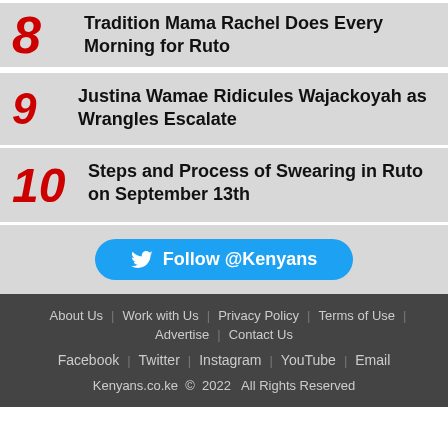8 Tradition Mama Rachel Does Every Morning for Ruto
9 Justina Wamae Ridicules Wajackoyah as Wrangles Escalate
10 Steps and Process of Swearing in Ruto on September 13th
Follow @Kenyans
About Us | Work with Us | Privacy Policy | Terms of Use | Advertise | Contact Us | Facebook | Twitter | Instagram | YouTube | Email | Kenyans.co.ke © 2022 All Rights Reserved